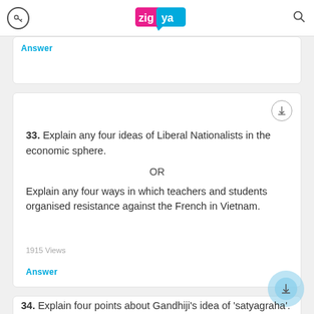Zigya
Answer
33.  Explain any four ideas of Liberal Nationalists in the economic sphere.

OR

Explain any four ways in which teachers and students organised resistance against the French in Vietnam.

1915 Views
Answer
34.  Explain four points about Gandhiji's idea of 'satyagraha'.